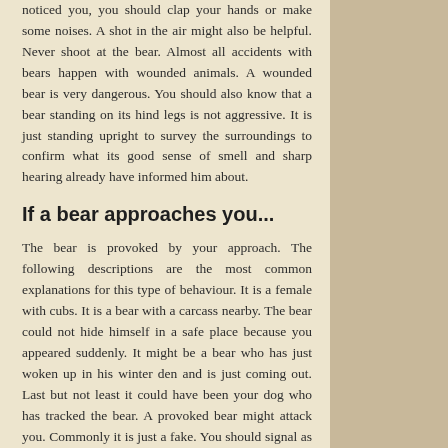noticed you, you should clap your hands or make some noises. A shot in the air might also be helpful. Never shoot at the bear. Almost all accidents with bears happen with wounded animals. A wounded bear is very dangerous. You should also know that a bear standing on its hind legs is not aggressive. It is just standing upright to survey the surroundings to confirm what its good sense of smell and sharp hearing already have informed him about.
If a bear approaches you...
The bear is provoked by your approach. The following descriptions are the most common explanations for this type of behaviour. It is a female with cubs. It is a bear with a carcass nearby. The bear could not hide himself in a safe place because you appeared suddenly. It might be a bear who has just woken up in his winter den and is just coming out. Last but not least it could have been your dog who has tracked the bear. A provoked bear might attack you. Commonly it is just a fake. You should signal as soon as possible your peaceful intentions. Talk loud, do not hit the bear or make any threatening gestures. Leave the place slowly and never run!